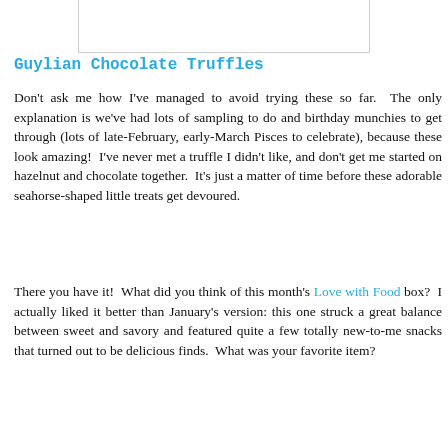[Figure (photo): Partial image of Guylian Chocolate Truffles product, cropped at top of page]
Guylian Chocolate Truffles
Don't ask me how I've managed to avoid trying these so far.  The only explanation is we've had lots of sampling to do and birthday munchies to get through (lots of late-February, early-March Pisces to celebrate), because these look amazing!  I've never met a truffle I didn't like, and don't get me started on hazelnut and chocolate together.  It's just a matter of time before these adorable seahorse-shaped little treats get devoured.
There you have it!  What did you think of this month's Love with Food box?  I actually liked it better than January's version: this one struck a great balance between sweet and savory and featured quite a few totally new-to-me snacks that turned out to be delicious finds.  What was your favorite item?